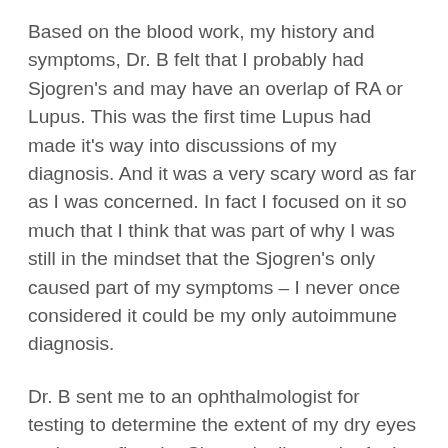Based on the blood work, my history and symptoms, Dr. B felt that I probably had Sjogren's and may have an overlap of RA or Lupus.  This was the first time Lupus had made it's way into discussions of my diagnosis.  And it was a very scary word as far as I was concerned.  In fact I focused on it so much that I think that was part of why I was still in the mindset that the Sjogren's only caused part of my symptoms – I never once considered it could be my only autoimmune diagnosis.
Dr. B sent me to an ophthalmologist for testing to determine the extent of my dry eyes and to confirm the Sjogren's diagnosis.  And sure enough, the ophthalmologist confirmed that diagnosis!  Along with telling me that I needed to be prepared to never wear contacts again because my eyes had been so chronically dry for so many years that I was doing